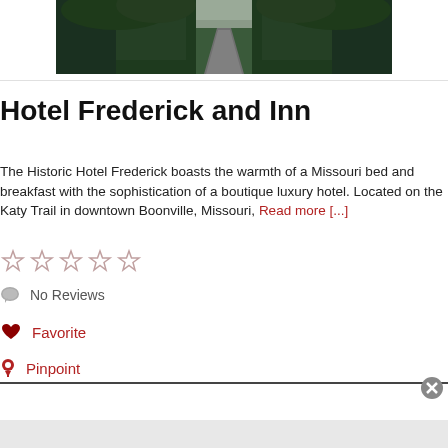[Figure (photo): Aerial or road-level photo of a tree-lined road or path, dark green forest canopy on both sides with a road visible in the middle, overcast sky.]
Hotel Frederick and Inn
The Historic Hotel Frederick boasts the warmth of a Missouri bed and breakfast with the sophistication of a boutique luxury hotel. Located on the Katy Trail in downtown Boonville, Missouri, Read more [...]
No Reviews
Favorite
Pinpoint